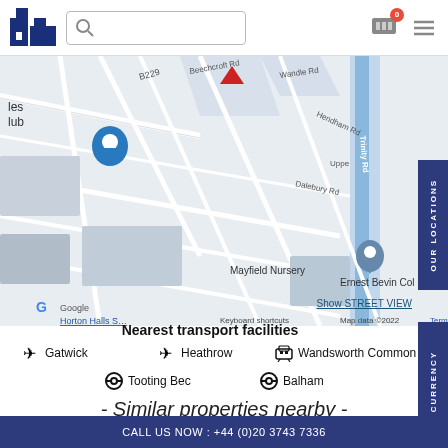[Figure (screenshot): Google Maps screenshot showing area around Tooting/Balham, London. Visible landmarks include Mayfield Nursery, Ernest Bevin College, Horton Halls. Roads include B229, Beechcroft Rd, Wandle Rd, Hendham Rd, Trinity Rd, Dalebury Rd. Map data ©2022.]
Show STREET VIEW
Nearest transport facilities
Gatwick
Heathrow
Wandsworth Common
Tooting Bec
Balham
- Similar properties nearby -
CALL US NOW : +44 (0)20 3743 7336